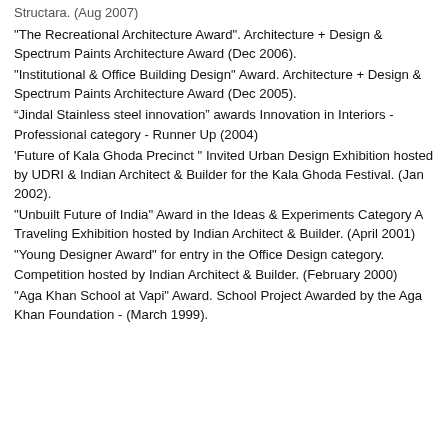Structara. (Aug 2007)
"The Recreational Architecture Award". Architecture + Design & Spectrum Paints Architecture Award (Dec 2006).
"Institutional & Office Building Design" Award. Architecture + Design & Spectrum Paints Architecture Award (Dec 2005).
“Jindal Stainless steel innovation” awards Innovation in Interiors - Professional category - Runner Up (2004)
'Future of Kala Ghoda Precinct " Invited Urban Design Exhibition hosted by UDRI & Indian Architect & Builder for the Kala Ghoda Festival. (Jan 2002).
"Unbuilt Future of India" Award in the Ideas & Experiments Category A Traveling Exhibition hosted by Indian Architect & Builder. (April 2001)
"Young Designer Award" for entry in the Office Design category. Competition hosted by Indian Architect & Builder. (February 2000)
"Aga Khan School at Vapi" Award. School Project Awarded by the Aga Khan Foundation - (March 1999).